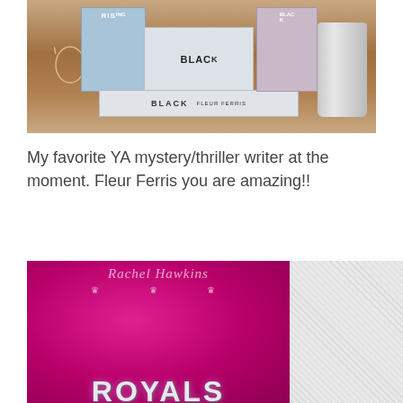[Figure (photo): Photo of books stacked on a wooden table. A book titled BLACK by Fleur Ferris is visible lying flat, along with other upright books and a metal cup, and glasses.]
My favorite YA mystery/thriller writer at the moment. Fleur Ferris you are amazing!!
[Figure (photo): Book cover of Royals by Rachel Hawkins. Hot pink/magenta background with crown decorations and jeweled/diamond text spelling ROYALS at the bottom.]